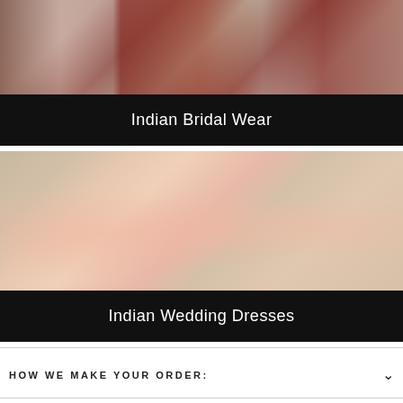[Figure (photo): Top portion of Indian bridal wear photo collage showing models in red and cream embroidered lehengas]
Indian Bridal Wear
[Figure (photo): Three models wearing cream/gold heavily embroidered lehengas with pink dupattas in a bridal photoshoot]
Indian Wedding Dresses
HOW WE MAKE YOUR ORDER:
SIZE CHART